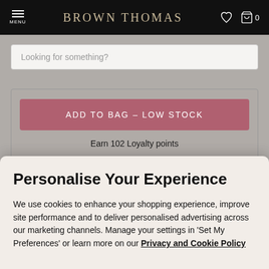MENU   BROWN THOMAS   [heart icon] [bag icon] 0
Looking for something?
ADD TO BAG – LOW STOCK
Earn 102 Loyalty points
Personalise Your Experience
We use cookies to enhance your shopping experience, improve site performance and to deliver personalised advertising across our marketing channels. Manage your settings in 'Set My Preferences' or learn more on our Privacy and Cookie Policy